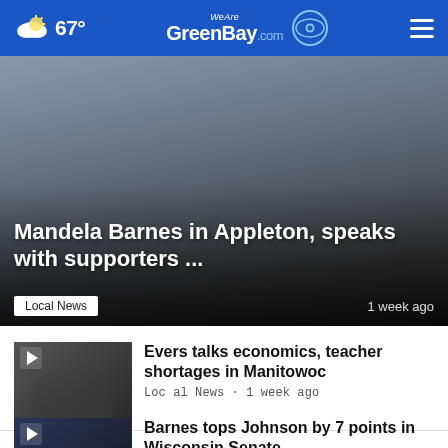67° WeAreGreenBay.com
[Figure (photo): Hero news image showing people smiling, looking at a laptop screen, with overlay text]
Mandela Barnes in Appleton, speaks with supporters ...
Local News · 1 week ago
[Figure (photo): Thumbnail of man with glasses in dark clothing]
Evers talks economics, teacher shortages in Manitowoc
Local News • 1 week ago
[Figure (photo): Thumbnail of man in suit against US flag background]
Barnes tops Johnson by 7 points in Wisconsin Senate ...
Election • 2 weeks ago